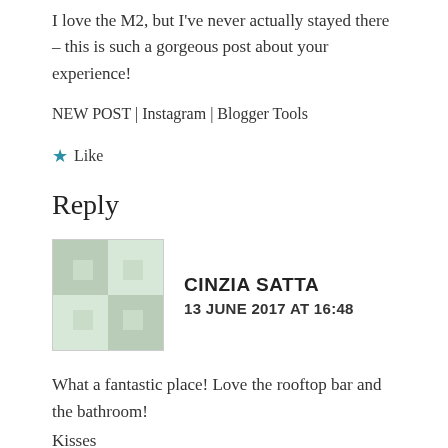I love the M2, but I've never actually stayed there – this is such a gorgeous post about your experience!
NEW POST | Instagram | Blogger Tools
★ Like
Reply
CINZIA SATTA
13 JUNE 2017 AT 16:48
What a fantastic place! Love the rooftop bar and the bathroom!
Kisses
Cinzia